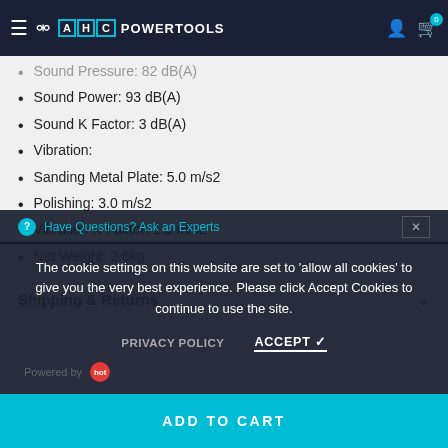AHC POWERTOOLS
Sound Pressure: 82 dB(A)
Sound Power: 93 dB(A)
Sound K Factor: 3 dB(A)
Vibration:
Sanding Metal Plate: 5.0 m/s2
Polishing: 3.0 m/s2
Vibration K Factor: 1.5 m/s2
Net Weight: 2.6kg
Shipping & Returns
The cookie settings on this website are set to 'allow all cookies' to give you the very best experience. Please click Accept Cookies to continue to use the site.
Have Questions? Ask an Experts
Powered by
ADD TO CART